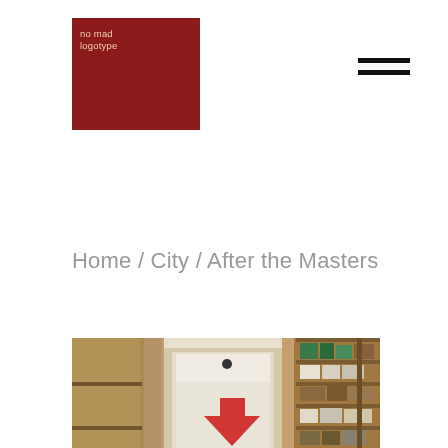[Figure (logo): Red square logo with text 'no mad logotype' in light beige/cream colored small font on dark red background]
[Figure (other): Hamburger menu icon — two thick horizontal black lines stacked]
Home / City / After the Masters
[Figure (photo): Interior photograph showing shelving units with boxes and materials, a doorway in the center with a large red arrow/symbol visible on a poster or sign inside, warm brown tones with green and white containers on shelves to the right]